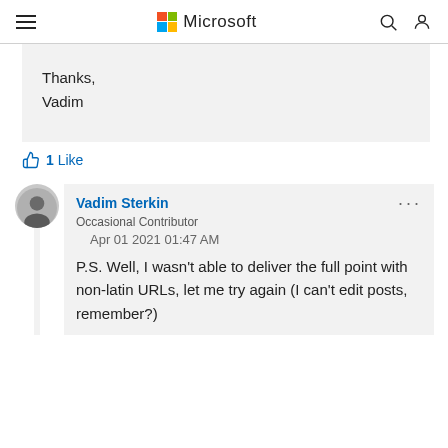Microsoft
Thanks,
Vadim
1 Like
Vadim Sterkin
Occasional Contributor
Apr 01 2021 01:47 AM
P.S. Well, I wasn't able to deliver the full point with non-latin URLs, let me try again (I can't edit posts, remember?)